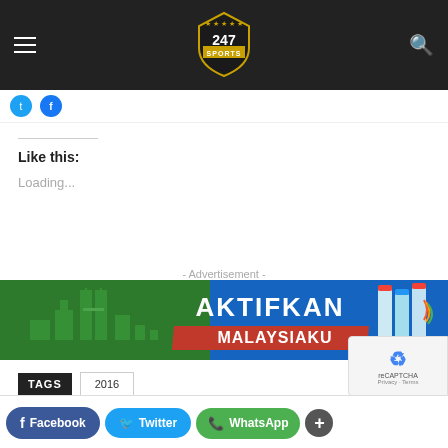Sports247 - navigation header with hamburger menu, logo, and search icon
[Figure (logo): Sports 247 logo with shield and stars on dark background]
Like this:
Loading...
- Advertisement -
[Figure (photo): Aktifkan Malaysiaku advertisement banner with Kuala Lumpur skyline on green and blue background]
TAGS  2016
Facebook  Twitter  WhatsApp  +